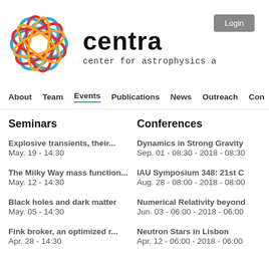[Figure (logo): CENTRA logo: colorful overlapping oval/ellipse loops in blue, red, and yellow forming a spherical shape]
centra
center for astrophysics a
Login
About  Team  Events  Publications  News  Outreach  Con
Seminars
Conferences
Explosive transients, their...
May. 19 - 14:30
Dynamics in Strong Gravity
Sep. 01 - 08:30 - 2018 - 08:30
The Milky Way mass function...
May. 12 - 14:30
IAU Symposium 348: 21st C
Aug. 28 - 08:00 - 2018 - 08:00
Black holes and dark matter
May. 05 - 14:30
Numerical Relativity beyond
Jun. 03 - 06:00 - 2018 - 06:00
Fink broker, an optimized r...
Apr. 28 - 14:30
Neutron Stars in Lisbon
Apr. 12 - 06:00 - 2018 - 06:00